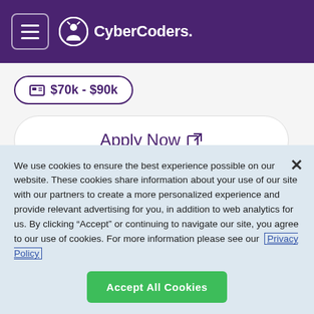CyberCoders
$70k - $90k
Apply Now
production supervision
Plant Line Supervision
Manufacturing Leadership
Lean Manufacturing
We use cookies to ensure the best experience possible on our website. These cookies share information about your use of our site with our partners to create a more personalized experience and provide relevant advertising for you, in addition to web analytics for us. By clicking "Accept" or continuing to navigate our site, you agree to our use of cookies. For more information please see our Privacy Policy
Accept All Cookies